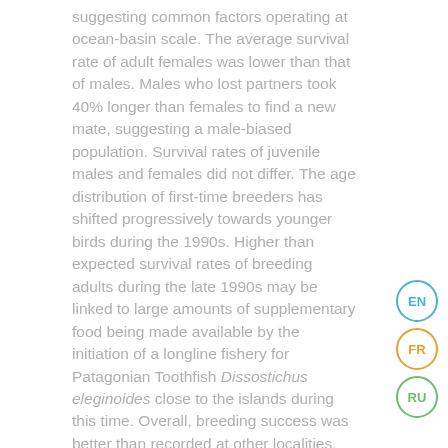suggesting common factors operating at ocean-basin scale. The average survival rate of adult females was lower than that of males. Males who lost partners took 40% longer than females to find a new mate, suggesting a male-biased population. Survival rates of juvenile males and females did not differ. The age distribution of first-time breeders has shifted progressively towards younger birds during the 1990s. Higher than expected survival rates of breeding adults during the late 1990s may be linked to large amounts of supplementary food being made available by the initiation of a longline fishery for Patagonian Toothfish Dissostichus eleginoides close to the islands during this time. Overall, breeding success was better than recorded at other localities, indicating that breeding conditions at Marion Island were favorable. The implementation of international conservation initiatives to reduce the impact of longline fishing on this species and improve its conservation status, is recommended.